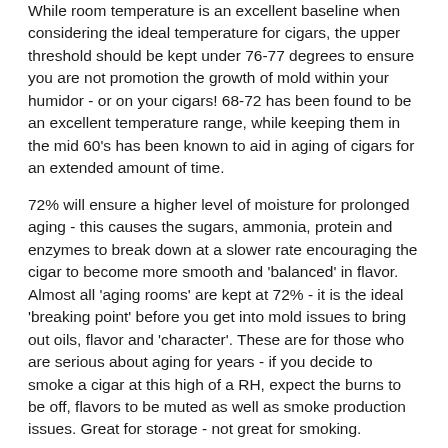While room temperature is an excellent baseline when considering the ideal temperature for cigars, the upper threshold should be kept under 76-77 degrees to ensure you are not promotion the growth of mold within your humidor - or on your cigars! 68-72 has been found to be an excellent temperature range, while keeping them in the mid 60's has been known to aid in aging of cigars for an extended amount of time.
72% will ensure a higher level of moisture for prolonged aging - this causes the sugars, ammonia, protein and enzymes to break down at a slower rate encouraging the cigar to become more smooth and 'balanced' in flavor. Almost all 'aging rooms' are kept at 72% - it is the ideal 'breaking point' before you get into mold issues to bring out oils, flavor and 'character'. These are for those who are serious about aging for years - if you decide to smoke a cigar at this high of a RH, expect the burns to be off, flavors to be muted as well as smoke production issues. Great for storage - not great for smoking.
69-71% is where a lot of us keep our cigars when first starting out or a level that some even prefer - it is easier to balance your humidor in the high 60's to low 70's with water pillows, beads or similar humidification devices and this will bring out a few more